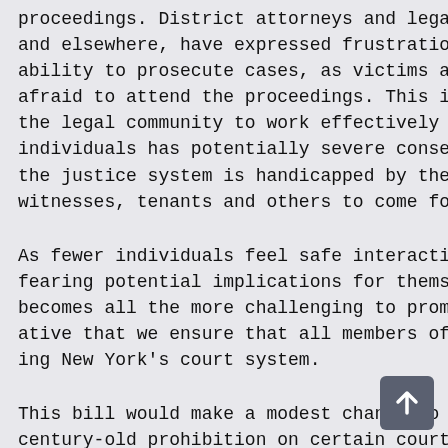proceedings. District attorneys and legal and elsewhere, have expressed frustration ability to prosecute cases, as victims a afraid to attend the proceedings. This i the legal community to work effectively individuals has potentially severe conse the justice system is handicapped by the witnesses, tenants and others to come fo
As fewer individuals feel safe interacti fearing potential implications for thems becomes all the more challenging to prom ative that we ensure that all members of ing New York's court system.
This bill would make a modest change to century-old prohibition on certain court Art. 3). The bill would allow arrest for a judicial arrest warrant or judicial or